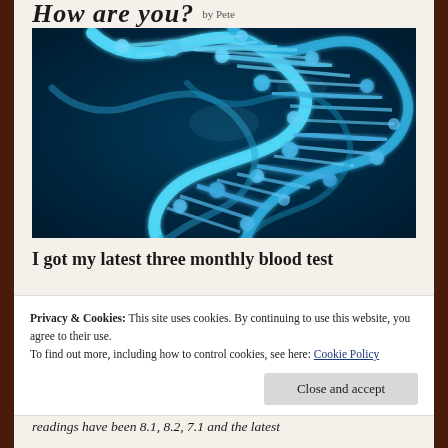How are you? by Pete
[Figure (photo): Close-up digital illustration of a DNA double helix structure rendered in blue tones against a dark blue background]
I got my latest three monthly blood test
Privacy & Cookies: This site uses cookies. By continuing to use this website, you agree to their use.
To find out more, including how to control cookies, see here: Cookie Policy
readings have been 8.1, 8.2, 7.1 and the latest